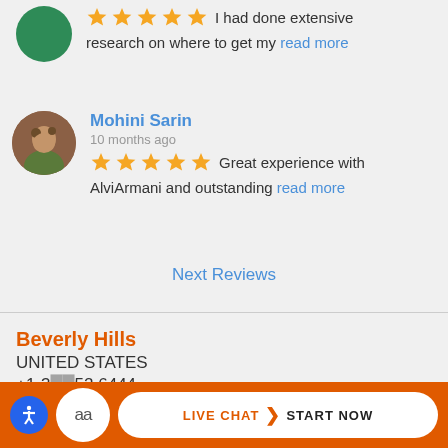[Figure (photo): Partial green avatar circle at top left, cropped]
I had done extensive research on where to get my read more
[Figure (photo): Circular avatar photo of Mohini Sarin, person standing outdoors]
Mohini Sarin
10 months ago
Great experience with AlviArmani and outstanding read more
Next Reviews
Beverly Hills
UNITED STATES
+1-3__52.6444
[Figure (screenshot): Orange live chat bar at bottom with accessibility icon, aa badge, and LIVE CHAT START NOW button]